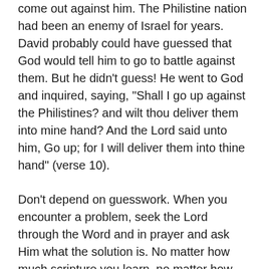come out against him. The Philistine nation had been an enemy of Israel for years. David probably could have guessed that God would tell him to go to battle against them. But he didn’t guess! He went to God and inquired, saying, “Shall I go up against the Philistines? and wilt thou deliver them into mine hand? And the Lord said unto him, Go up; for I will deliver them into thine hand” (verse 10).
Don’t depend on guesswork. When you encounter a problem, seek the Lord through the Word and in prayer and ask Him what the solution is. No matter how much scripture you learn, no matter how fully you perceive who you are in Christ Jesus, you’ll never outgrow your need to do that.
Go to the Lord and find out exactly what He wants